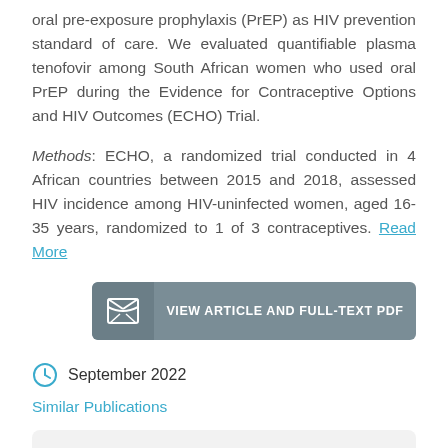oral pre-exposure prophylaxis (PrEP) as HIV prevention standard of care. We evaluated quantifiable plasma tenofovir among South African women who used oral PrEP during the Evidence for Contraceptive Options and HIV Outcomes (ECHO) Trial.
Methods: ECHO, a randomized trial conducted in 4 African countries between 2015 and 2018, assessed HIV incidence among HIV-uninfected women, aged 16-35 years, randomized to 1 of 3 contraceptives. Read More
VIEW ARTICLE AND FULL-TEXT PDF
September 2022
Similar Publications
[Figure (infographic): Social media sharing bar with Facebook, Twitter, and LinkedIn icons]